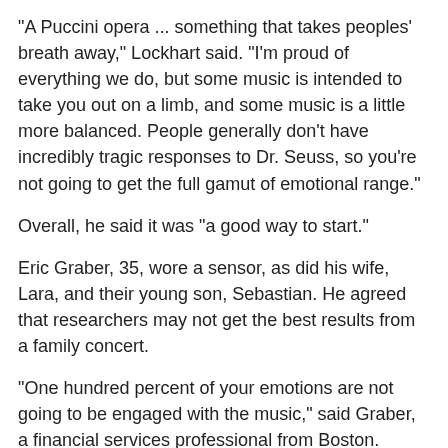"A Puccini opera ... something that takes peoples' breath away," Lockhart said. "I'm proud of everything we do, but some music is intended to take you out on a limb, and some music is a little more balanced. People generally don't have incredibly tragic responses to Dr. Seuss, so you're not going to get the full gamut of emotional range."
Overall, he said it was "a good way to start."
Eric Graber, 35, wore a sensor, as did his wife, Lara, and their young son, Sebastian. He agreed that researchers may not get the best results from a family concert.
"One hundred percent of your emotions are not going to be engaged with the music," said Graber, a financial services professional from Boston. "You're also going to be engaged with your children."
Graber thinks there is plenty of room for additional research.
"I'd be curious how any medium affects your emotions, how